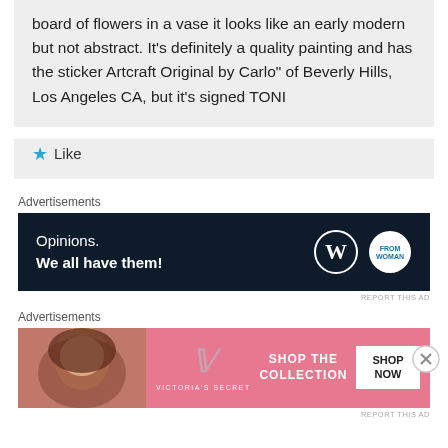board of flowers in a vase it looks like an early modern but not abstract. It's definitely a quality painting and has the sticker Artcraft Original by Carlo" of Beverly Hills, Los Angeles CA, but it's signed TONI
Like
Advertisements
[Figure (screenshot): Dark navy advertisement banner reading 'Opinions. We all have them!' with WordPress logo and another circular brand logo on the right]
REPORT THIS AD
Advertisements
[Figure (screenshot): Victoria's Secret pink advertisement banner showing a woman's photo on the left, VS logo and brand name in center, 'SHOP THE COLLECTION' text, and a white 'SHOP NOW' button on the right]
REPORT THIS AD